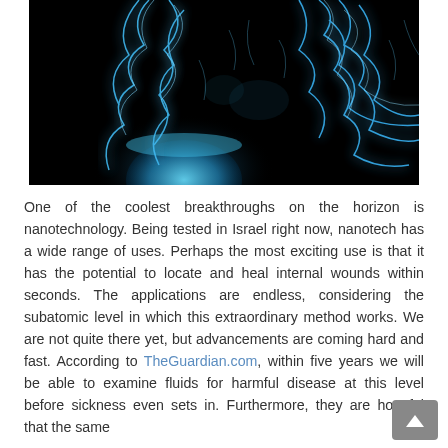[Figure (photo): Abstract dark background image showing glowing blue electric/plasma lightning-like tendrils or neural network patterns against a black background, with a faint blue glowing sphere or planet visible in the lower left area.]
One of the coolest breakthroughs on the horizon is nanotechnology. Being tested in Israel right now, nanotech has a wide range of uses. Perhaps the most exciting use is that it has the potential to locate and heal internal wounds within seconds. The applications are endless, considering the subatomic level in which this extraordinary method works. We are not quite there yet, but advancements are coming hard and fast. According to TheGuardian.com, within five years we will be able to examine fluids for harmful disease at this level before sickness even sets in. Furthermore, they are hopeful that the same